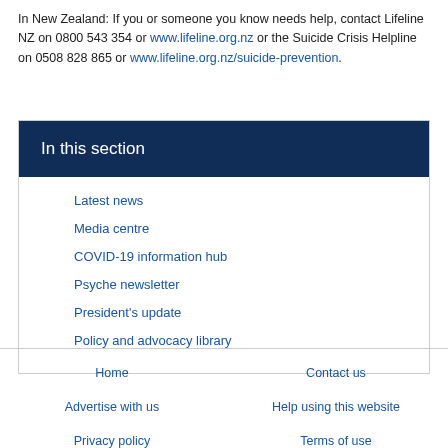In New Zealand: If you or someone you know needs help, contact Lifeline NZ on 0800 543 354 or www.lifeline.org.nz or the Suicide Crisis Helpline on 0508 828 865 or www.lifeline.org.nz/suicide-prevention.
In this section
Latest news
Media centre
COVID-19 information hub
Psyche newsletter
President's update
Policy and advocacy library
Home | Contact us | Advertise with us | Help using this website | Privacy policy | Terms of use | Site map